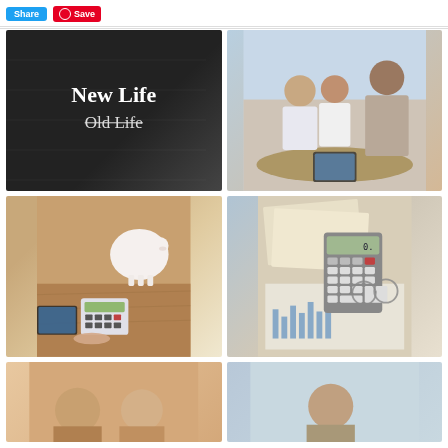[Figure (screenshot): Top bar with Share and Save (Pinterest) buttons]
[Figure (photo): Chalkboard with 'New Life' written above 'Old Life' (crossed out)]
[Figure (photo): Three people in a business meeting, two clients and an advisor looking at a tablet]
[Figure (photo): Person using a calculator, with a piggy bank and tablet on a wooden desk]
[Figure (photo): Calculator, financial charts/graphs, documents and glasses on a desk]
[Figure (photo): Partially visible image at bottom left]
[Figure (photo): Partially visible image at bottom right]